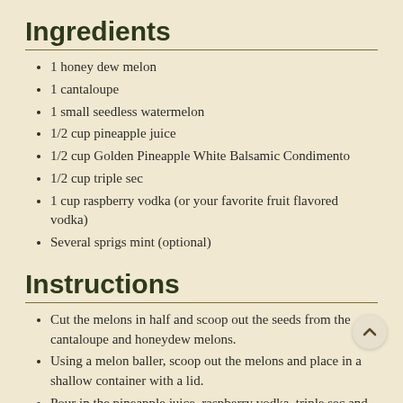Ingredients
1 honey dew melon
1 cantaloupe
1 small seedless watermelon
1/2 cup pineapple juice
1/2 cup Golden Pineapple White Balsamic Condimento
1/2 cup triple sec
1 cup raspberry vodka (or your favorite fruit flavored vodka)
Several sprigs mint (optional)
Instructions
Cut the melons in half and scoop out the seeds from the cantaloupe and honeydew melons.
Using a melon baller, scoop out the melons and place in a shallow container with a lid.
Pour in the pineapple juice, raspberry vodka, triple sec and Golden Pineapple White Balsamic…